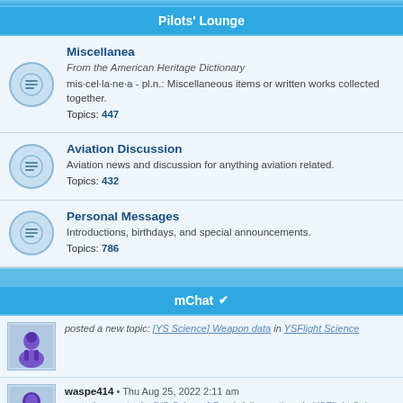Pilots' Lounge
Miscellanea
From the American Heritage Dictionary
mis·cel·la·ne·a - pl.n.: Miscellaneous items or written works collected together.
Topics: 447
Aviation Discussion
Aviation news and discussion for anything aviation related.
Topics: 432
Personal Messages
Introductions, birthdays, and special announcements.
Topics: 786
mChat ✓
posted a new topic: [YS Science] Weapon data in YSFlight Science
waspe414 • Thu Aug 25, 2022 2:11 am
posted a new topic: [YS Science] Bomb fall equations in YSFlight Science
waspe414 • Thu Aug 25, 2022 2:19 am
posted a new topic: [YS Science] HTRADIUS and render distance in YSFlight Science
waspe414 • Thu Aug 25, 2022 2:24 am
posted a new topic: [YS Science] Carrier catapult acceleration in YSFlight Science